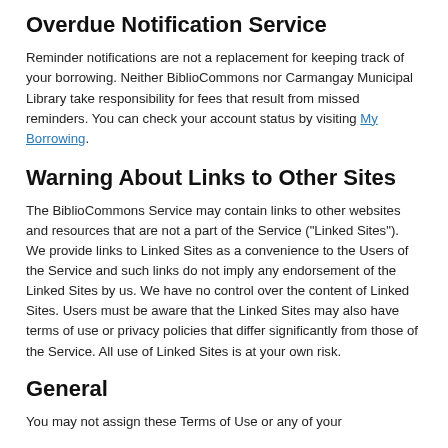Overdue Notification Service
Reminder notifications are not a replacement for keeping track of your borrowing. Neither BiblioCommons nor Carmangay Municipal Library take responsibility for fees that result from missed reminders. You can check your account status by visiting My Borrowing.
Warning About Links to Other Sites
The BiblioCommons Service may contain links to other websites and resources that are not a part of the Service ("Linked Sites"). We provide links to Linked Sites as a convenience to the Users of the Service and such links do not imply any endorsement of the Linked Sites by us. We have no control over the content of Linked Sites. Users must be aware that the Linked Sites may also have terms of use or privacy policies that differ significantly from those of the Service. All use of Linked Sites is at your own risk.
General
You may not assign these Terms of Use or any of your